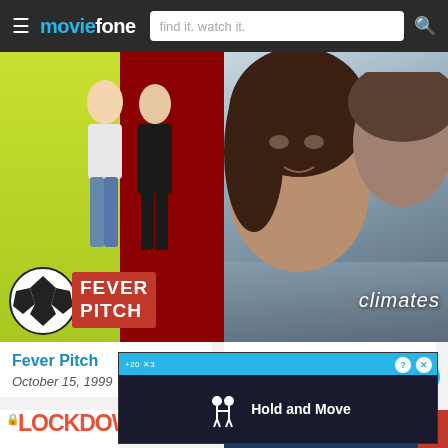moviefone — find it. watch it.
[Figure (photo): Movie poster for Fever Pitch showing two people standing in front of a yellow and red background with a soccer ball and title text]
Fever Pitch
October 15, 1999
[Figure (photo): Movie poster for Climates showing a close-up of a woman and a man's face with muted blue-grey tones and the title 'climates' in italic text]
Climates
October 27, 2006
[Figure (screenshot): Ad overlay showing a game called Hold and Move with a blue top bar and dark background]
[Figure (photo): Partial movie poster for Lockdown all'italiana visible at bottom left]
[Figure (photo): Partial movie poster with cast names including Furmann, Makatsch, Vogel, Lara, Noos, Kurtulus on dark blue/red background]